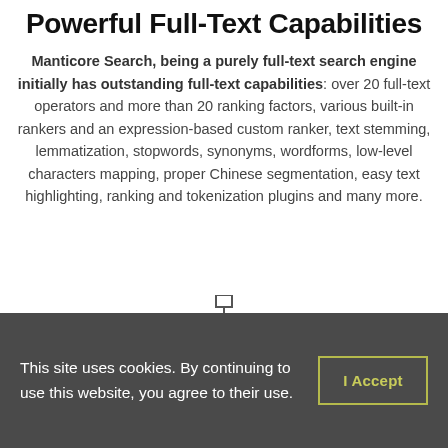Powerful Full-Text Capabilities
Manticore Search, being a purely full-text search engine initially has outstanding full-text capabilities: over 20 full-text operators and more than 20 ranking factors, various built-in rankers and an expression-based custom ranker, text stemming, lemmatization, stopwords, synonyms, wordforms, low-level characters mapping, proper Chinese segmentation, easy text highlighting, ranking and tokenization plugins and many more.
[Figure (illustration): Network/hierarchy icon showing a small organizational chart with boxes connected by lines]
This site uses cookies. By continuing to use this website, you agree to their use.